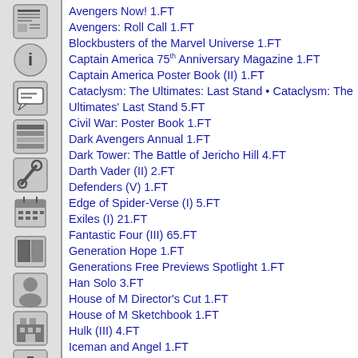[Figure (other): Sidebar with navigation icons: newspaper, info, comic speech bubble, grid/list, tools/wrench, calendar, book, character/avatar, building/factory, download, globe/network, thumbs up]
Avengers Now! 1.FT
Avengers: Roll Call 1.FT
Blockbusters of the Marvel Universe 1.FT
Captain America 75th Anniversary Magazine 1.FT
Captain America Poster Book (II) 1.FT
Cataclysm: The Ultimates: Last Stand • Cataclysm: The Ultimates' Last Stand 5.FT
Civil War: Poster Book 1.FT
Dark Avengers Annual 1.FT
Dark Tower: The Battle of Jericho Hill 4.FT
Darth Vader (II) 2.FT
Defenders (V) 1.FT
Edge of Spider-Verse (I) 5.FT
Exiles (I) 21.FT
Fantastic Four (III) 65.FT
Generation Hope 1.FT
Generations Free Previews Spotlight 1.FT
Han Solo 3.FT
House of M Director's Cut 1.FT
House of M Sketchbook 1.FT
Hulk (III) 4.FT
Iceman and Angel 1.FT
Iron Man (III) • The Invincible Iron Man (III) 64.FT
January 2011 Sneak Peeks 1.FT
Killraven (II) 4.FT
King Thor 4.FT
King-Size Hulk 1.FT
Marvel Calendar 2011 1.FT